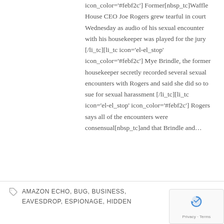icon_color='#febf2c'] Former[nbsp_tc]Waffle House CEO Joe Rogers grew tearful in court Wednesday as audio of his sexual encounter with his housekeeper was played for the jury [/li_tc][li_tc icon='el-el_stop' icon_color='#febf2c'] Mye Brindle, the former housekeeper secretly recorded several sexual encounters with Rogers and said she did so to sue for sexual harassment [/li_tc][li_tc icon='el-el_stop' icon_color='#febf2c'] Rogers says all of the encounters were consensual[nbsp_tc]and that Brindle and…
AMAZON ECHO, BUG, BUSINESS, EAVESDROP, ESPIONAGE, HIDDEN